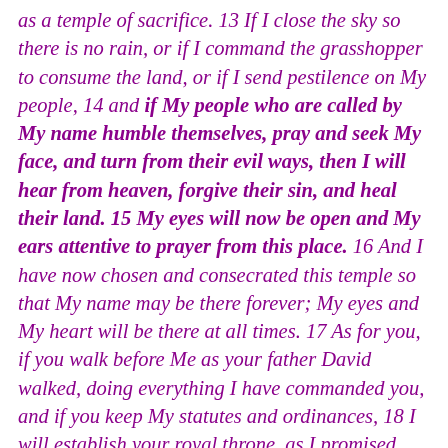as a temple of sacrifice. 13 If I close the sky so there is no rain, or if I command the grasshopper to consume the land, or if I send pestilence on My people, 14 and if My people who are called by My name humble themselves, pray and seek My face, and turn from their evil ways, then I will hear from heaven, forgive their sin, and heal their land. 15 My eyes will now be open and My ears attentive to prayer from this place. 16 And I have now chosen and consecrated this temple so that My name may be there forever; My eyes and My heart will be there at all times. 17 As for you, if you walk before Me as your father David walked, doing everything I have commanded you, and if you keep My statutes and ordinances, 18 I will establish your royal throne, as I promised your father David: You will never fail to have a man ruling in Israel.19 However, if you turn away and abandon My statutes and My commands that I have set